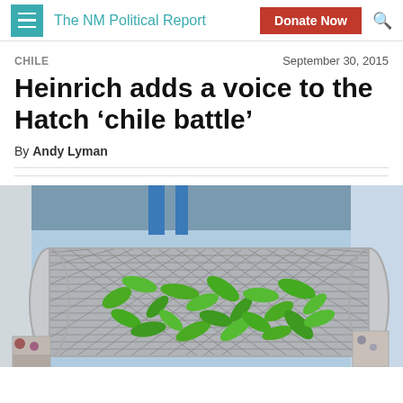The NM Political Report
CHILE    September 30, 2015
Heinrich adds a voice to the Hatch ‘chile battle’
By Andy Lyman
[Figure (photo): A rotating metal mesh drum/roaster filled with green chile peppers, industrial equipment in the background.]